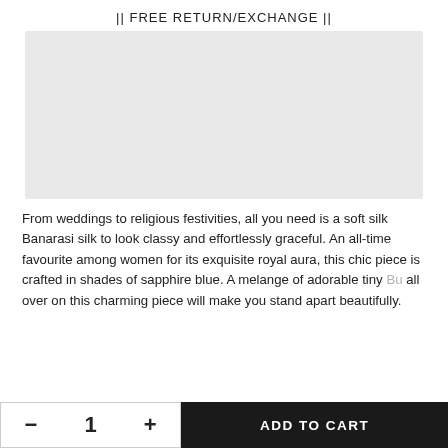|| FREE RETURN/EXCHANGE ||
[Figure (photo): Product image placeholder — light grey rectangle representing a saree or fabric product photo]
From weddings to religious festivities, all you need is a soft silk Banarasi silk to look classy and effortlessly graceful. An all-time favourite among women for its exquisite royal aura, this chic piece is crafted in shades of sapphire blue. A melange of adorable tiny [motifs] all over on this charming piece will make you stand apart beautifully.
ADD TO CART